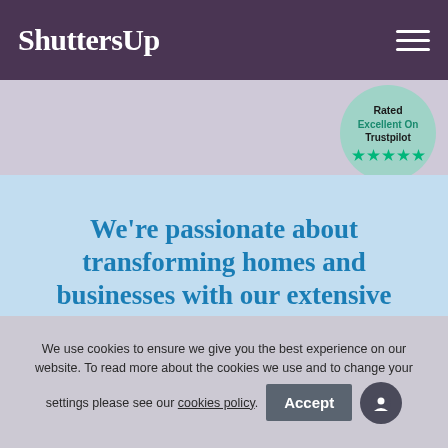ShuttersUp
[Figure (logo): Trustpilot badge: Rated Excellent On Trustpilot with 5 green stars]
We’re passionate about transforming homes and businesses with our extensive range of beautifully crafted shutters.
We use cookies to ensure we give you the best experience on our website. To read more about the cookies we use and to change your settings please see our cookies policy.